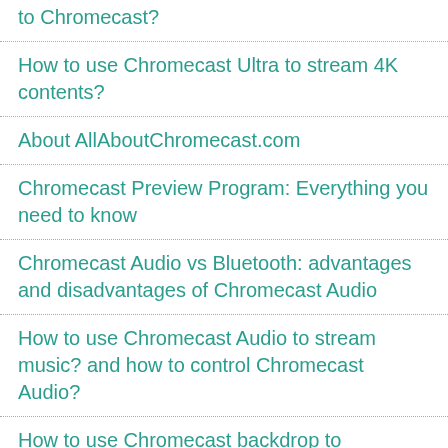to Chromecast?
How to use Chromecast Ultra to stream 4K contents?
About AllAboutChromecast.com
Chromecast Preview Program: Everything you need to know
Chromecast Audio vs Bluetooth: advantages and disadvantages of Chromecast Audio
How to use Chromecast Audio to stream music? and how to control Chromecast Audio?
How to use Chromecast backdrop to customize the TV screen?
How to use Chromecast to play back to